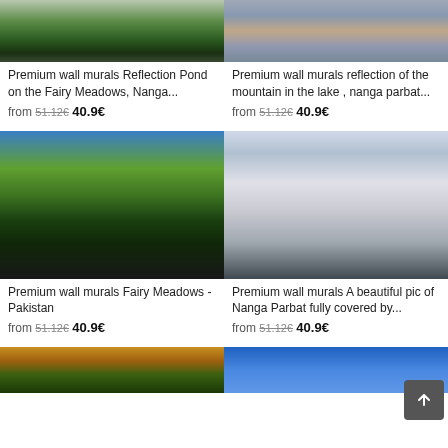[Figure (photo): Mountain landscape with forest and rocky peaks - Reflection Pond on the Fairy Meadows, Nanga Parbat]
Premium wall murals Reflection Pond on the Fairy Meadows, Nanga...
from 51.12€ 40.9€
[Figure (photo): Reflection of mountain in lake at dusk with moon - nanga parbat]
Premium wall murals reflection of the mountain in the lake , nanga parbat...
from 51.12€ 40.9€
[Figure (photo): Fairy Meadows Pakistan - snow-capped mountains with green valley and reflection in pond]
Premium wall murals Fairy Meadows - Pakistan
from 51.12€ 40.9€
[Figure (photo): Nanga Parbat fully covered by snow and clouds]
Premium wall murals A beautiful pic of Nanga Parbat fully covered by...
from 51.12€ 40.9€
[Figure (photo): Tree with autumn foliage against blue sky]
[Figure (photo): Blue sky landscape]